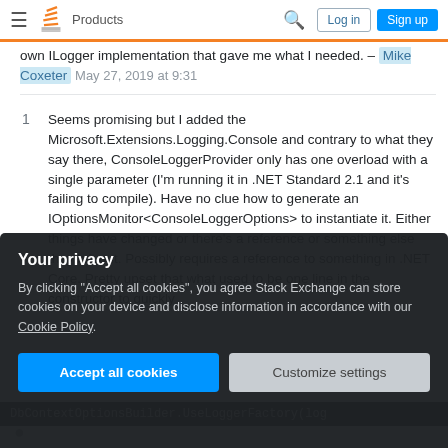Stack Overflow — Products | Log in | Sign up
own ILogger implementation that gave me what I needed. – Mike Coxeter  May 27, 2019 at 9:31
1  Seems promising but I added the Microsoft.Extensions.Logging.Console and contrary to what they say there, ConsoleLoggerProvider only has one overload with a single parameter (I'm running it in .NET Standard 2.1 and it's failing to compile). Have no clue how to generate an IOptionsMonitor<ConsoleLoggerOptions> to instantiate it. Either things have changed or there's a reference or something else they left out. Possibly requires a reference to something in .NET Core. Pretty upset that what used to be one line in the constructor to quickly
Your privacy
By clicking "Accept all cookies", you agree Stack Exchange can store cookies on your device and disclose information in accordance with our Cookie Policy.
Accept all cookies  Customize settings
DbContextOptionsBuilder.UseLoggerFactory(log